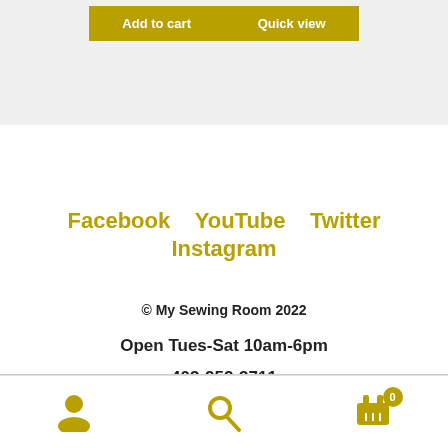Add to cart   Quick view
Facebook   YouTube   Twitter
Instagram
© My Sewing Room 2022
Open Tues-Sat 10am-6pm
403-252-3711
[Figure (infographic): Bottom navigation bar with user icon, search icon, and cart icon with badge showing 0]